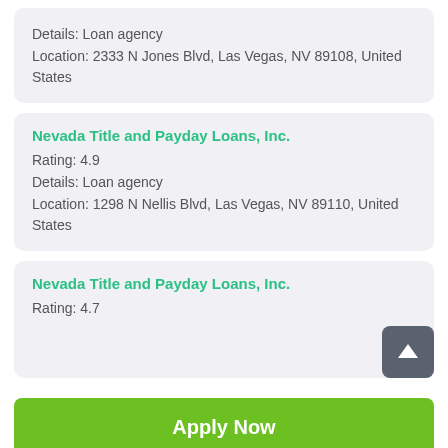Details: Loan agency
Location: 2333 N Jones Blvd, Las Vegas, NV 89108, United States
Nevada Title and Payday Loans, Inc.
Rating: 4.9
Details: Loan agency
Location: 1298 N Nellis Blvd, Las Vegas, NV 89110, United States
Nevada Title and Payday Loans, Inc.
Rating: 4.7
Apply Now
Applying does NOT affect your credit score!
No credit check to apply.